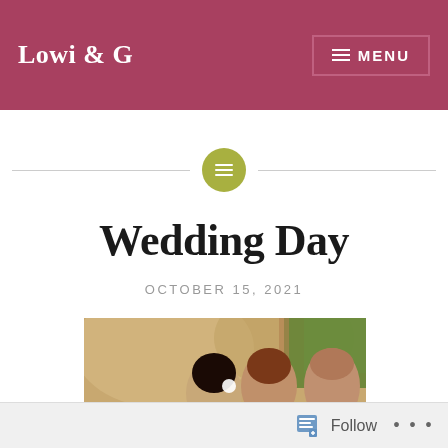Lowi & G  MENU
[Figure (other): Olive/yellow-green circle with horizontal lines icon, centered on a horizontal divider line]
Wedding Day
OCTOBER 15, 2021
[Figure (photo): Wedding photo showing a bride with dark hair and white flower accessory, a groom with reddish-brown hair, and another man with a shaved head, in an outdoor setting with trees and fabric decor in the background]
Follow  ...